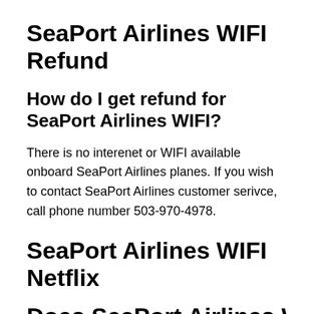SeaPort Airlines WIFI Refund
How do I get refund for SeaPort Airlines WIFI?
There is no interenet or WIFI available onboard SeaPort Airlines planes. If you wish to contact SeaPort Airlines customer serivce, call phone number 503-970-4978.
SeaPort Airlines WIFI Netflix
Does SeaPort Airlines WIFI